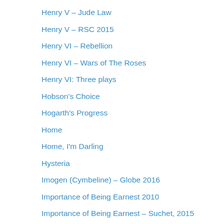Henry V – Jude Law
Henry V – RSC 2015
Henry VI – Rebellion
Henry VI – Wars of The Roses
Henry VI: Three plays
Hobson's Choice
Hogarth's Progress
Home
Home, I'm Darling
Hysteria
Imogen (Cymbeline) – Globe 2016
Importance of Being Earnest 2010
Importance of Being Earnest – Suchet, 2015
Importance of Being Earnest – Watermill
Importance of Being Earnest 2014
Importance of Being Earnest- 2018
Inala
Institute
Into The Hoods – Remixed
Ivanov